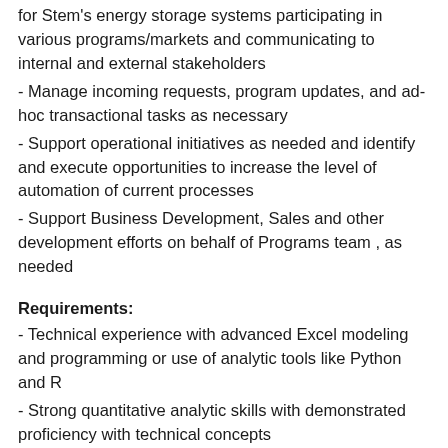for Stem's energy storage systems participating in various programs/markets and communicating to internal and external stakeholders
- Manage incoming requests, program updates, and ad-hoc transactional tasks as necessary
- Support operational initiatives as needed and identify and execute opportunities to increase the level of automation of current processes
- Support Business Development, Sales and other development efforts on behalf of Programs team , as needed
Requirements:
- Technical experience with advanced Excel modeling and programming or use of analytic tools like Python and R
- Strong quantitative analytic skills with demonstrated proficiency with technical concepts